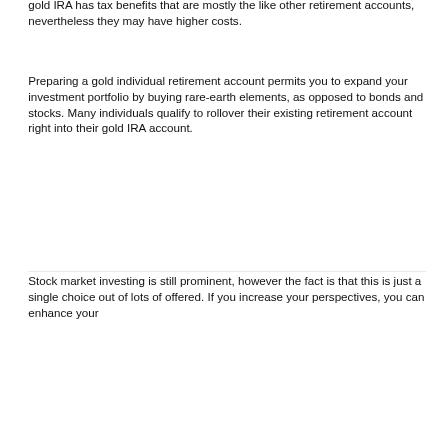gold IRA has tax benefits that are mostly the like other retirement accounts, nevertheless they may have higher costs.
Preparing a gold individual retirement account permits you to expand your investment portfolio by buying rare-earth elements, as opposed to bonds and stocks. Many individuals qualify to rollover their existing retirement account right into their gold IRA account.
Stock market investing is still prominent, however the fact is that this is just a single choice out of lots of offered. If you increase your perspectives, you can enhance your